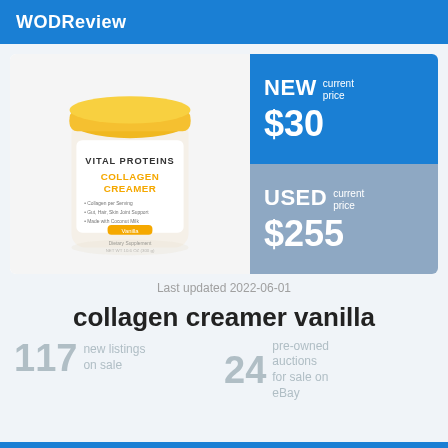WODReview
[Figure (photo): Vital Proteins Collagen Creamer vanilla flavor container with yellow lid, white label]
NEW current price $30
USED current price $255
Last updated 2022-06-01
collagen creamer vanilla
117 new listings on sale
24 pre-owned auctions for sale on eBay